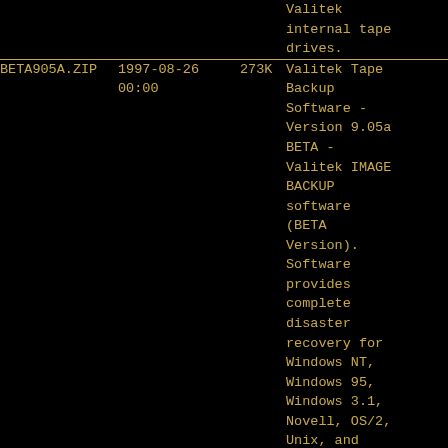| Filename | Date | Size | Description |
| --- | --- | --- | --- |
|  |  |  | Valitek internal tape drives. |
| BETA905A.ZIP | 1997-08-26 00:00 | 273K | Valitek Tape Backup Software - Version 9.05a BETA - Valitek IMAGE BACKUP software (BETA Version). Software provides complete disaster recovery for Windows NT, Windows 95, Windows 3.1, Novell, OS/2, Unix, and DOS. The software can be used on all Valitek pst2 tape |